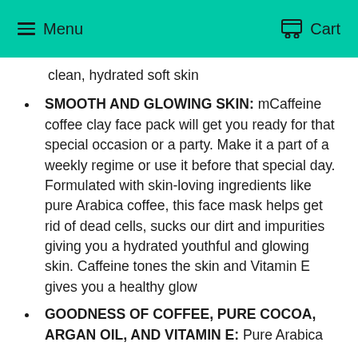Menu   Cart
clean, hydrated soft skin
SMOOTH AND GLOWING SKIN: mCaffeine coffee clay face pack will get you ready for that special occasion or a party. Make it a part of a weekly regime or use it before that special day. Formulated with skin-loving ingredients like pure Arabica coffee, this face mask helps get rid of dead cells, sucks our dirt and impurities giving you a hydrated youthful and glowing skin. Caffeine tones the skin and Vitamin E gives you a healthy glow
GOODNESS OF COFFEE, PURE COCOA, ARGAN OIL, AND VITAMIN E: Pure Arabica